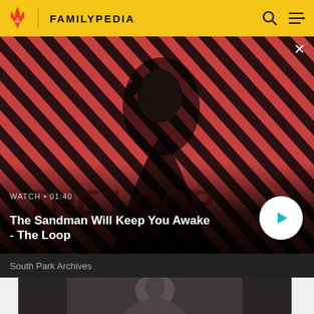FAMILYPEDIA
[Figure (screenshot): Video thumbnail for 'The Sandman Will Keep You Awake - The Loop' showing a dark-cloaked figure with a raven on shoulder against red diagonal striped background. Shows WATCH · 01:40 label and play button.]
WATCH · 01:40
The Sandman Will Keep You Awake - The Loop
South Park Archives
[Figure (photo): Second video thumbnail showing a man's face in dark/muted tones]